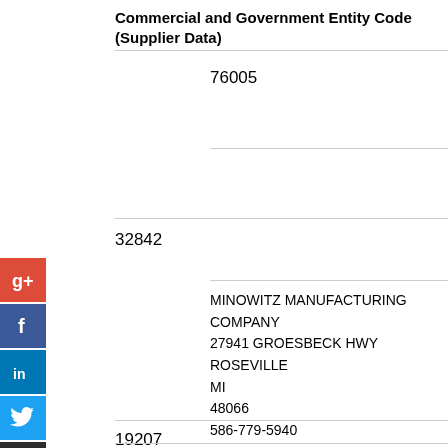Commercial and Government Entity Code (Supplier Data)
76005
32842
MINOWITZ MANUFACTURING COMPANY
27941 GROESBECK HWY
ROSEVILLE
MI
48066
586-779-5940
19207